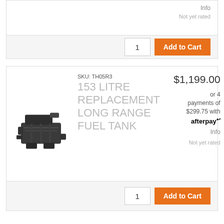Info
Not yet rated
1
Add to Cart
[Figure (photo): 153 litre replacement long range fuel tank product image — dark grey/black plastic tank component]
SKU: TH05R3
153 LITRE REPLACEMENT LONG RANGE FUEL TANK
$1,199.00
or 4 payments of $299.75 with afterpay
Info
Not yet rated
1
Add to Cart